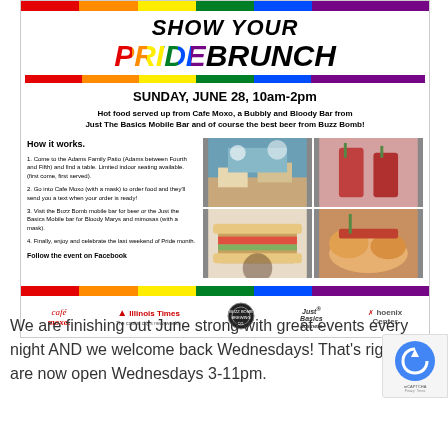SHOW YOUR PRIDE BRUNCH
SUNDAY, JUNE 28, 10am-2pm
Hot food served up from Cafe Moxo, a Bubbly and Bloody Bar from Just The Basics Mobile Bar and of course the best beer from Buzz Bomb!
How it works.
1. Come to the Adams Family Patio (Adams between Fourth and Fifth) and find a table. Limited indoor seating available. (first come, first served).
2. Go into Cafe Moxo (with a mask) to order food and they'll send you a text when your order is ready!
3. Visit the Buzz Bomb mobile bar for beer or the Just the Basics Mobile bar for Bloody Marys and mimosas (with a mask).
4. Finally, enjoy and celebrate the last weekend of Pride month.
Follow the event on Facebook
[Figure (photo): Four photos showing outdoor patio seating, bloody mary drinks, sandwiches, and brunch food]
[Figure (logo): Sponsor logos: cafe moxo, Illinois Times, Buzz Bomb Brewing Co., Just Basics, The Phoenix Center]
We are finishing out June strong with great events every night AND we welcome back Wednesdays! That's right we are now open Wednesdays 3-11pm.